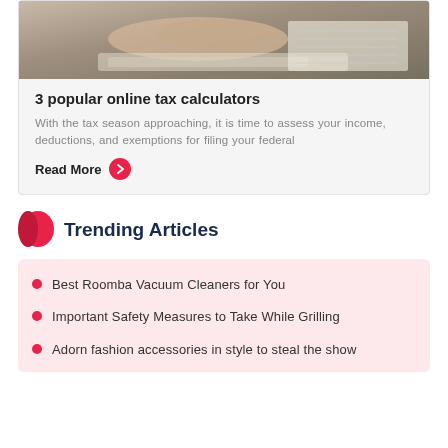[Figure (photo): Person's hands resting on papers/documents on a desk, viewed from above]
3 popular online tax calculators
With the tax season approaching, it is time to assess your income, deductions, and exemptions for filing your federal
Read More
Trending Articles
Best Roomba Vacuum Cleaners for You
Important Safety Measures to Take While Grilling
Adorn fashion accessories in style to steal the show